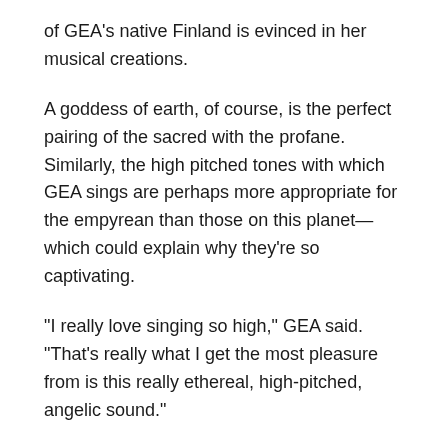of GEA's native Finland is evinced in her musical creations.
A goddess of earth, of course, is the perfect pairing of the sacred with the profane. Similarly, the high pitched tones with which GEA sings are perhaps more appropriate for the empyrean than those on this planet—which could explain why they're so captivating.
“I really love singing so high,” GEA said. “That’s really what I get the most pleasure from is this really ethereal, high-pitched, angelic sound.”
Part III: Out Of Office
Divorcing and leaving her husband was but one vital aspect of the tale of GEA. The other was a similar sundering with the corporate world in which she had